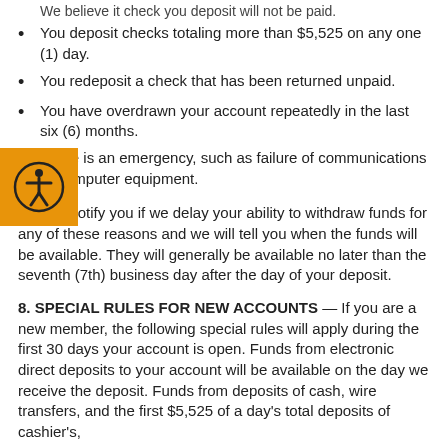We believe it check you deposit will not be paid.
You deposit checks totaling more than $5,525 on any one (1) day.
You redeposit a check that has been returned unpaid.
You have overdrawn your account repeatedly in the last six (6) months.
There is an emergency, such as failure of communications or computer equipment.
We will notify you if we delay your ability to withdraw funds for any of these reasons and we will tell you when the funds will be available. They will generally be available no later than the seventh (7th) business day after the day of your deposit.
8. SPECIAL RULES FOR NEW ACCOUNTS — If you are a new member, the following special rules will apply during the first 30 days your account is open. Funds from electronic direct deposits to your account will be available on the day we receive the deposit. Funds from deposits of cash, wire transfers, and the first $5,525 of a day's total deposits of cashier's,